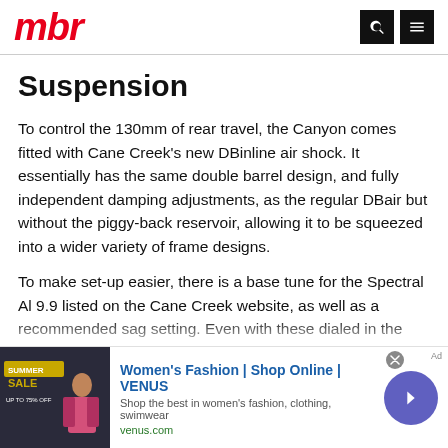mbr
Suspension
To control the 130mm of rear travel, the Canyon comes fitted with Cane Creek's new DBinline air shock. It essentially has the same double barrel design, and fully independent damping adjustments, as the regular DBair but without the piggy-back reservoir, allowing it to be squeezed into a wider variety of frame designs.
To make set-up easier, there is a base tune for the Spectral Al 9.9 listed on the Cane Creek website, as well as a recommended sag setting. Even with these dialed in the Spectral Al 9.9's suspension tended to cycle too easily on…
[Figure (other): Advertisement banner: Women's Fashion | Shop Online | VENUS. Shop the best in women's fashion, clothing, swimwear. venus.com]